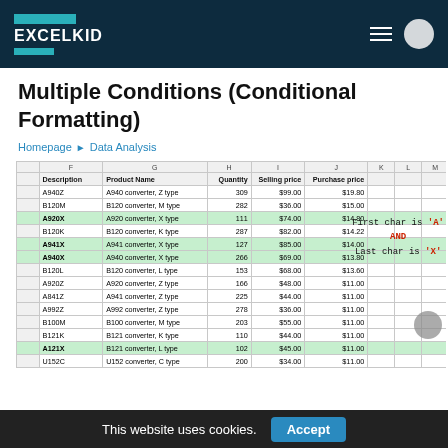EXCELKID
Multiple Conditions (Conditional Formatting)
Homepage ► Data Analysis
| F Description | G Product Name | H Quantity | I Selling price | J Purchase price |
| --- | --- | --- | --- | --- |
| A940Z | A940 converter, Z type | 309 | $99.00 | $19.80 |
| B120M | B120 converter, M type | 282 | $36.00 | $15.00 |
| A920X | A920 converter, X type | 111 | $74.00 | $14.80 |
| B120K | B120 converter, K type | 287 | $82.00 | $14.22 |
| A941X | A941 converter, X type | 127 | $85.00 | $14.00 |
| A940X | A940 converter, X type | 266 | $69.00 | $13.80 |
| B120L | B120 converter, L type | 153 | $68.00 | $13.60 |
| A920Z | A920 converter, Z type | 166 | $48.00 | $11.00 |
| A841Z | A941 converter, Z type | 225 | $44.00 | $11.00 |
| A992Z | A992 converter, Z type | 278 | $36.00 | $11.00 |
| B100M | B100 converter, M type | 203 | $55.00 | $11.00 |
| B121K | B121 converter, K type | 110 | $44.00 | $11.00 |
| A121X | B121 converter, L type | 102 | $45.00 | $11.00 |
| U152C | U152 converter, C type | 200 | $34.00 | $11.00 |
First char is 'A' AND Last char is 'X'
This website uses cookies.
Accept